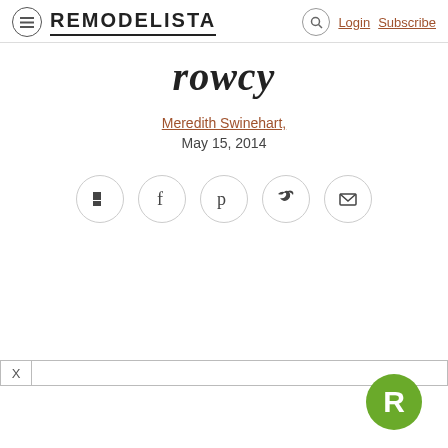REMODELISTA  Login  Subscribe
rowcy
Meredith Swinehart, May 15, 2014
[Figure (infographic): Social share buttons: Flipboard, Facebook, Pinterest, Twitter, Email]
[Figure (logo): Remodelista green R badge logo in bottom right corner]